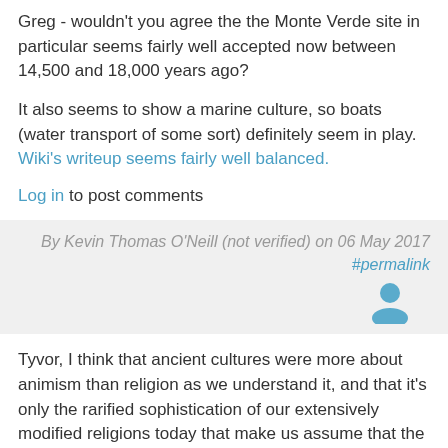Greg - wouldn't you agree the the Monte Verde site in particular seems fairly well accepted now between 14,500 and 18,000 years ago?
It also seems to show a marine culture, so boats (water transport of some sort) definitely seem in play. Wiki's writeup seems fairly well balanced.
Log in to post comments
By Kevin Thomas O'Neill (not verified) on 06 May 2017 #permalink
[Figure (illustration): User avatar icon in blue/teal color]
Tyvor, I think that ancient cultures were more about animism than religion as we understand it, and that it's only the rarified sophistication of our extensively modified religions today that make us assume that the animism of all cultures means religious faith is the default state of humanity.
It's not. The basal cause is the investment of